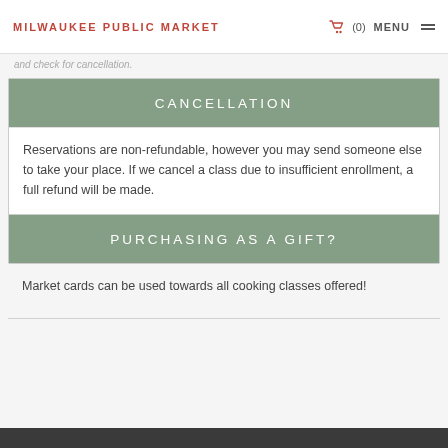MILWAUKEE PUBLIC MARKET  (0)  MENU
and check for cancellation.
CANCELLATION
Reservations are non-refundable, however you may send someone else to take your place. If we cancel a class due to insufficient enrollment, a full refund will be made.
PURCHASING AS A GIFT?
Market cards can be used towards all cooking classes offered!